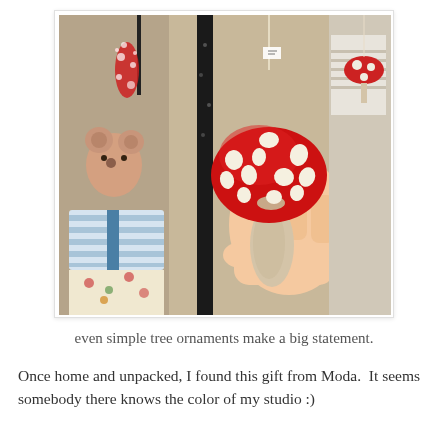[Figure (photo): A hand holding a decorative mushroom ornament with a red cap and white spots, in a shop setting with various ornaments and textiles in the background.]
even simple tree ornaments make a big statement.
Once home and unpacked, I found this gift from Moda.  It seems somebody there knows the color of my studio :)